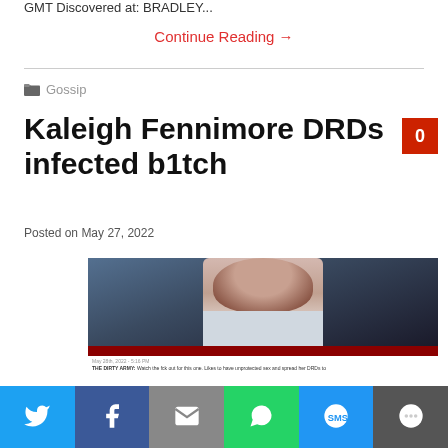GMT Discovered at: BRADLEY...
Continue Reading →
Gossip
Kaleigh Fennimore DRDs infected b1tch
Posted on May 27, 2022
[Figure (photo): Screenshot of a social media post featuring a photo of a woman with dark hair, with a dark red banner and caption text from 'THE DIRTY ARMY']
Twitter | Facebook | Email | WhatsApp | SMS | More